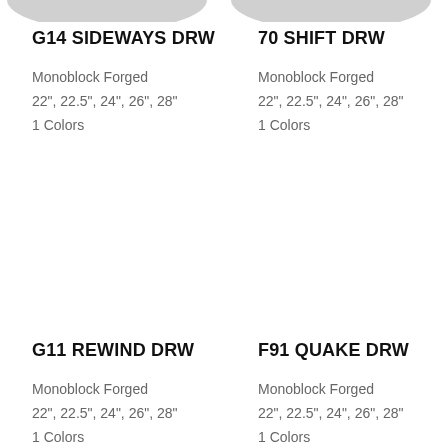[Figure (photo): Top portion of a wheel/rim product image for G14 Sideways DRW, cropped at top]
G14 SIDEWAYS DRW
Monoblock Forged
22", 22.5", 24", 26", 28"
1 Colors
[Figure (photo): Top portion of a wheel/rim product image for 70 Shift DRW, cropped at top]
70 SHIFT DRW
Monoblock Forged
22", 22.5", 24", 26", 28"
1 Colors
[Figure (photo): Wheel/rim product image for G11 Rewind DRW (middle section, mostly white space)]
G11 REWIND DRW
Monoblock Forged
22", 22.5", 24", 26", 28"
1 Colors
[Figure (photo): Wheel/rim product image for F91 Quake DRW (middle section, mostly white space)]
F91 QUAKE DRW
Monoblock Forged
22", 22.5", 24", 26", 28"
1 Colors